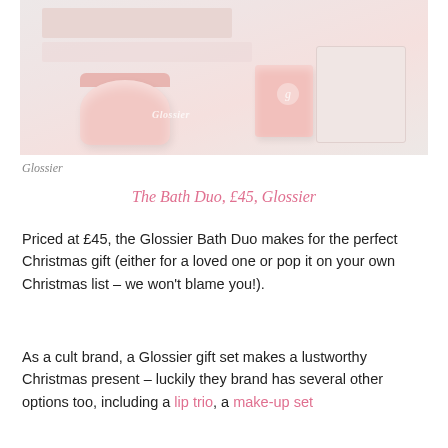[Figure (photo): Glossier Bath Duo product photo showing a pink jar of body cream, a pink candle, and white branded boxes against a light pink/beige background]
Glossier
The Bath Duo, £45, Glossier
Priced at £45, the Glossier Bath Duo makes for the perfect Christmas gift (either for a loved one or pop it on your own Christmas list – we won't blame you!).
As a cult brand, a Glossier gift set makes a lustworthy Christmas present – luckily they brand has several other options too, including a lip trio, a make-up set